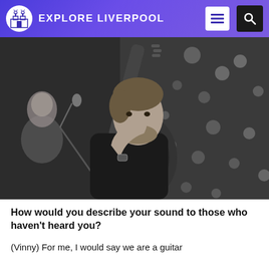EXPLORE LIVERPOOL
[Figure (photo): Black and white photo of a man playing guitar on stage, looking at camera, with another musician in the background and bokeh lights behind them.]
How would you describe your sound to those who haven't heard you?
(Vinny) For me, I would say we are a guitar